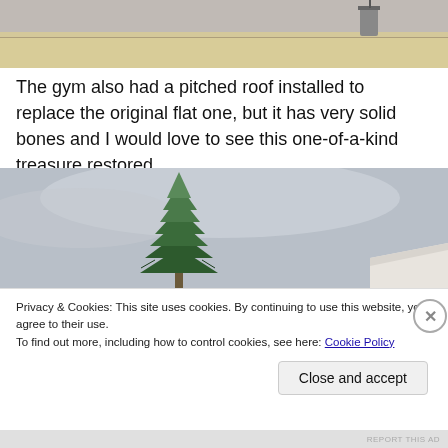[Figure (photo): Partial view of an interior ceiling/wall area showing yellowish wall surface and a gray ceiling with a visible utility box or fixture.]
The gym also had a pitched roof installed to replace the original flat one, but it has very solid bones and I would love to see this one-of-a-kind treasure restored.
[Figure (photo): Outdoor photo showing a large evergreen tree (pine/fir) against a cloudy gray sky, with the roofline of a white building visible at the bottom right.]
Privacy & Cookies: This site uses cookies. By continuing to use this website, you agree to their use.
To find out more, including how to control cookies, see here: Cookie Policy
Close and accept